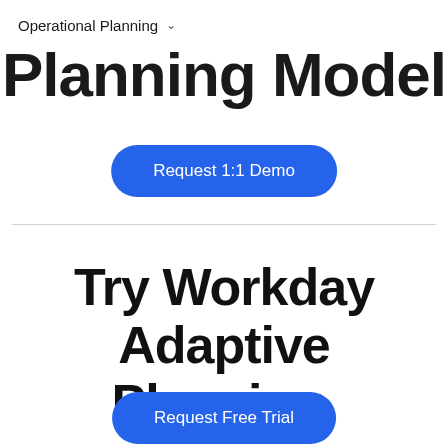Operational Planning
Planning Model
Request 1:1 Demo
Try Workday Adaptive Planning.
Request Free Trial